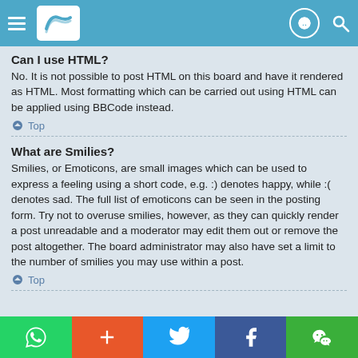Forum navigation header with menu, logo, and icons
Can I use HTML?
No. It is not possible to post HTML on this board and have it rendered as HTML. Most formatting which can be carried out using HTML can be applied using BBCode instead.
⬆ Top
What are Smilies?
Smilies, or Emoticons, are small images which can be used to express a feeling using a short code, e.g. :) denotes happy, while :( denotes sad. The full list of emoticons can be seen in the posting form. Try not to overuse smilies, however, as they can quickly render a post unreadable and a moderator may edit them out or remove the post altogether. The board administrator may also have set a limit to the number of smilies you may use within a post.
⬆ Top
Social share buttons: WhatsApp, Plus, Twitter, Facebook, WeChat